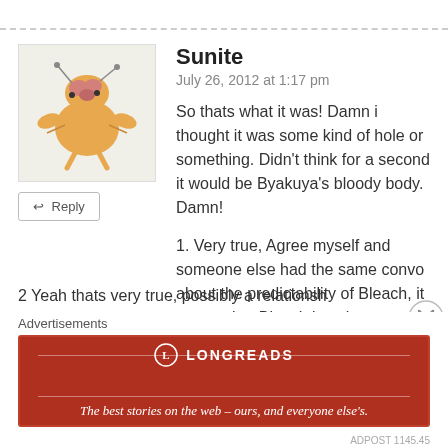Sunite
July 26, 2012 at 1:17 pm
So thats what it was! Damn i thought it was some kind of hole or something. Didn’t think for a second it would be Byakuya’s bloody body. Damn!
1. Very true, Agree myself and someone else had the same convo about the predictability of Bleach, it seems that Bleach is going to end at a high while most Shinigami’s at a low…
2 Yeah thats very true, possibly a relationsh
Advertisements
[Figure (logo): Longreads logo with tagline: The best stories on the web – ours, and everyone else’s.]